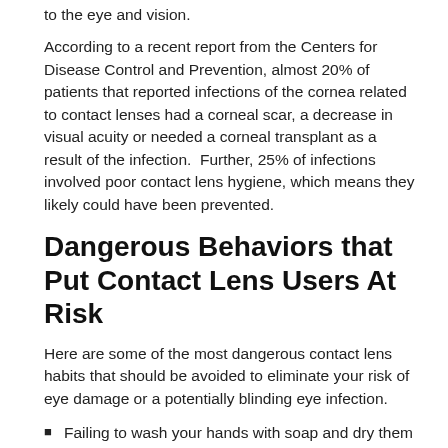to the eye and vision.
According to a recent report from the Centers for Disease Control and Prevention, almost 20% of patients that reported infections of the cornea related to contact lenses had a corneal scar, a decrease in visual acuity or needed a corneal transplant as a result of the infection.  Further, 25% of infections involved poor contact lens hygiene, which means they likely could have been prevented.
Dangerous Behaviors that Put Contact Lens Users At Risk
Here are some of the most dangerous contact lens habits that should be avoided to eliminate your risk of eye damage or a potentially blinding eye infection.
Failing to wash your hands with soap and dry them before applying or removing lenses.
Rinsing contacts or your lens case with tap water, sterile water or other substances.